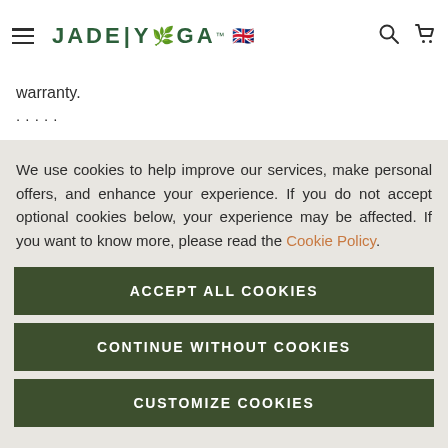JADE|YOGA (logo with hamburger menu, search and cart icons)
warranty.
We use cookies to help improve our services, make personal offers, and enhance your experience. If you do not accept optional cookies below, your experience may be affected. If you want to know more, please read the Cookie Policy.
ACCEPT ALL COOKIES
CONTINUE WITHOUT COOKIES
CUSTOMIZE COOKIES